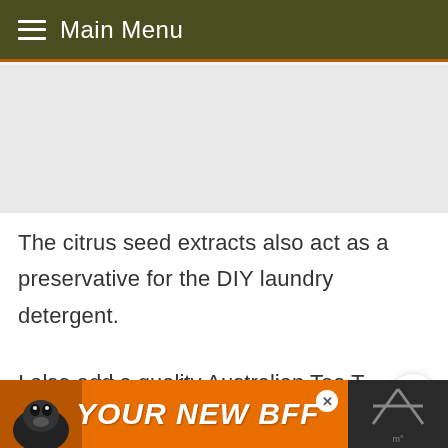Main Menu
The citrus seed extracts also act as a preservative for the DIY laundry detergent.
I also add a quality Australian Tea Tree Oil (also known as melaleuca oil) in my
[Figure (screenshot): What's Next promotional bar showing 'Toilet Mold – What It Is,...']
[Figure (photo): Advertisement banner: YOUR NEW BFF with dog photo]